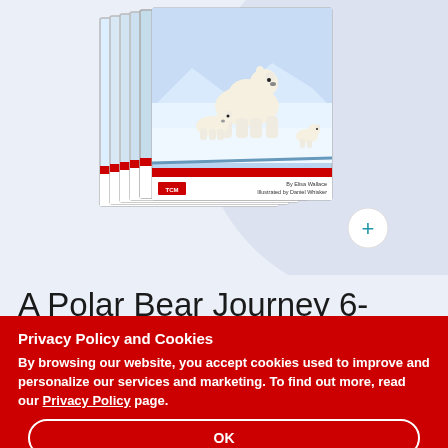[Figure (photo): Stack of 'A Polar Bear Journey' books with polar bears on cover, by Elisa Wallace, illustrated by Daniel Whisker, TCM publisher logo. A plus (+) button is visible in the bottom right area.]
A Polar Bear Journey 6-Pack
Privacy Policy and Cookies
By browsing our website, you accept cookies used to improve and personalize our services and marketing. To find out more, read our Privacy Policy page.
OK